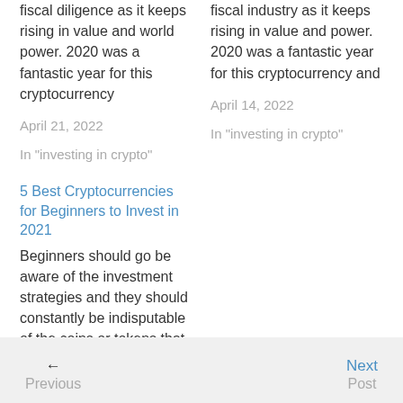fiscal diligence as it keeps rising in value and world power. 2020 was a fantastic year for this cryptocurrency
April 21, 2022
In "investing in crypto"
fiscal industry as it keeps rising in value and power. 2020 was a fantastic year for this cryptocurrency and
April 14, 2022
In "investing in crypto"
5 Best Cryptocurrencies for Beginners to Invest in 2021
Beginners should go be aware of the investment strategies and they should constantly be indisputable of the coins or tokens that
April 13, 2022
In "investing in crypto"
← Previous
Next →